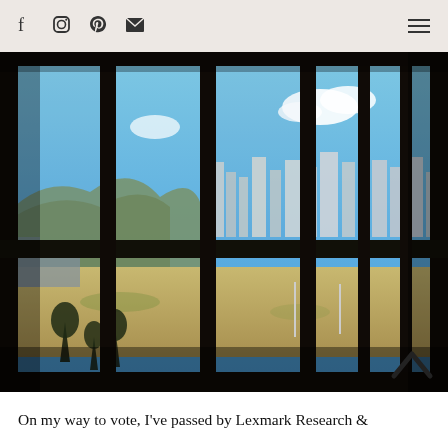f  o  p  [mail]  [menu]
[Figure (photo): View through large floor-to-ceiling grid windows showing a cityscape with tall buildings in the distance, open flat land with dry grass in the middle ground, mountains on the left horizon, and blue sky with white clouds. The window frames cast dark silhouettes across the frame.]
On my way to vote, I've passed by Lexmark Research &